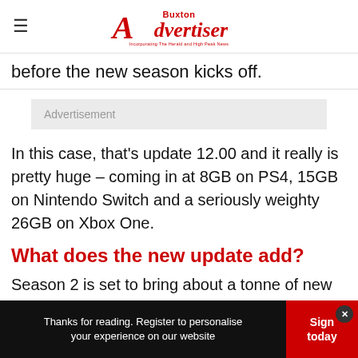Buxton Advertiser — Incorporating The Herald and High Peak News
before the new season kicks off.
[Figure (other): Advertisement placeholder box with text 'Advertisement']
In this case, that's update 12.00 and it really is pretty huge – coming in at 8GB on PS4, 15GB on Nintendo Switch and a seriously weighty 26GB on Xbox One.
What does the new update add?
Season 2 is set to bring about a tonne of new
Thanks for reading. Register to personalise your experience on our website  Sign today